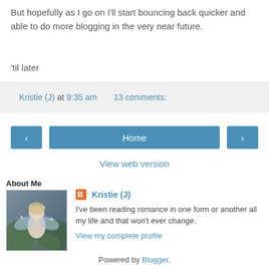But hopefully as I go on I'll start bouncing back quicker and able to do more blogging in the very near future.
'til later
Kristie (J) at 9:35 am    13 comments:
< Home >
View web version
About Me
[Figure (photo): Profile photo of a fairy or angel figure]
Kristie (J)
I've been reading romance in one form or another all my life and that won't ever change.
View my complete profile
Powered by Blogger.